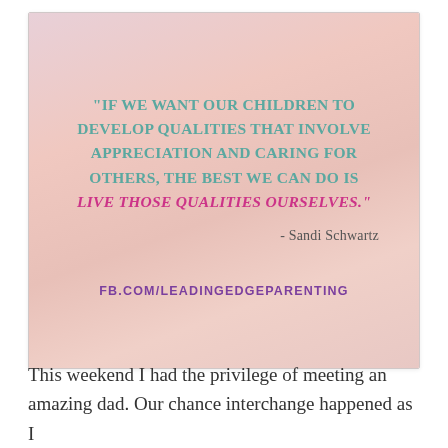[Figure (infographic): Inspirational quote image with soft pink/peach gradient background. Quote reads: 'IF WE WANT OUR CHILDREN TO DEVELOP QUALITIES THAT INVOLVE APPRECIATION AND CARING FOR OTHERS, THE BEST WE CAN DO IS LIVE THOSE QUALITIES OURSELVES.' - Sandi Schwartz. FB.COM/LEADINGEDGEPARENTING at bottom.]
This weekend I had the privilege of meeting an amazing dad. Our chance interchange happened as I